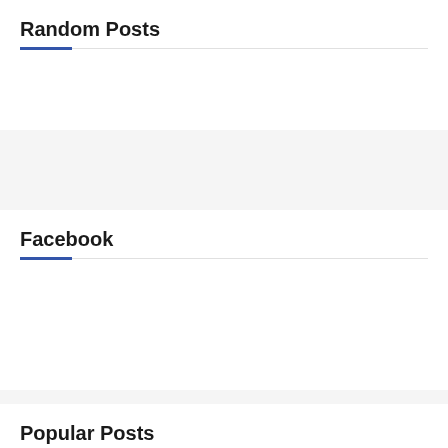Random Posts
Facebook
Popular Posts
[Figure (photo): Airplane on tarmac under blue sky with clouds]
Baanigondu elle ellide? Lyrics Translation
ಬಾನಿಗೊಂದು ಎಲ್ಲೆ ಎಲ್ಲಿದೆ?